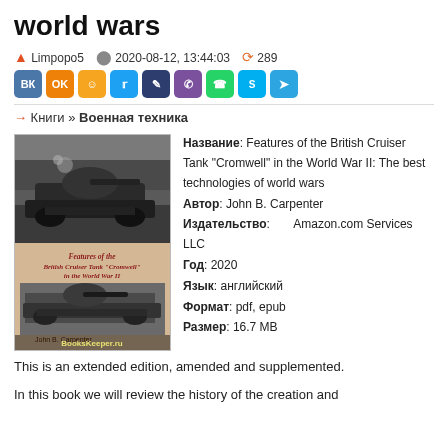world wars
Limpopo5   2020-08-12, 13:44:03   289
[Figure (other): Social media share buttons: VK, OK, MR, Twitter, dark button, Viber, WhatsApp, Skype, Telegram]
→ Книги » Военная техника
[Figure (photo): Book cover showing British Cruiser Tank Cromwell, black and white photo of tank on top half, beige lower half with title text 'Features of the British Cruiser Tank "Cromwell" in the World War II' and author 'John B. Carpenter', with BooksKeeper.ru watermark]
Название: Features of the British Cruiser Tank "Cromwell" in the World War II: The best technologies of world wars
Автор: John B. Carpenter
Издательство: Amazon.com Services LLC
Год: 2020
Язык: английский
Формат: pdf, epub
Размер: 16.7 MB
This is an extended edition, amended and supplemented.
In this book we will review the history of the creation and